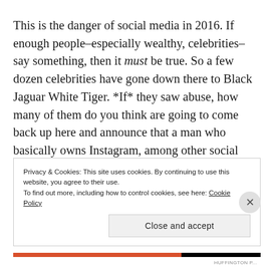This is the danger of social media in 2016. If enough people–especially wealthy, celebrities– say something, then it must be true. So a few dozen celebrities have gone down there to Black Jaguar White Tiger. *If* they saw abuse, how many of them do you think are going to come back up here and announce that a man who basically owns Instagram, among other social media
Privacy & Cookies: This site uses cookies. By continuing to use this website, you agree to their use.
To find out more, including how to control cookies, see here: Cookie Policy
Close and accept
HUFFINGTON P...